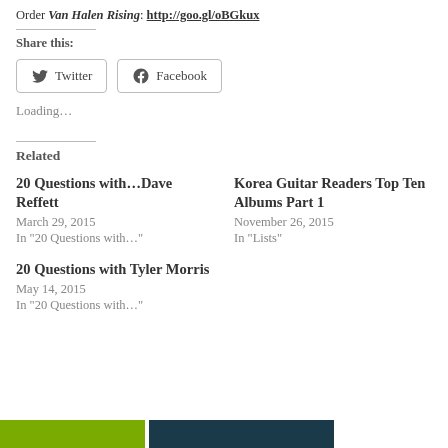Order Van Halen Rising: http://goo.gl/oBGkux
Share this:
Twitter  Facebook
Loading…
Related
20 Questions with…Dave Reffett
March 29, 2015
In "20 Questions with…"
Korea Guitar Readers Top Ten Albums Part 1
November 26, 2015
In "Lists"
20 Questions with Tyler Morris
May 14, 2015
In "20 Questions with…"